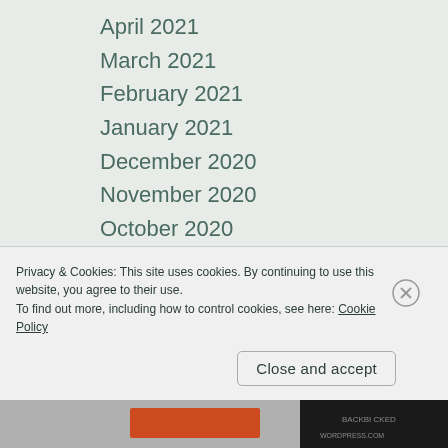April 2021
March 2021
February 2021
January 2021
December 2020
November 2020
October 2020
September 2020
August 2020
June 2020
February 2020
January 2020
December 2019
October 2019
Privacy & Cookies: This site uses cookies. By continuing to use this website, you agree to their use.
To find out more, including how to control cookies, see here: Cookie Policy
Close and accept